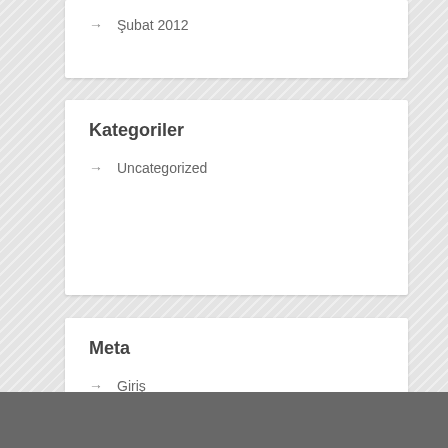Şubat 2012
Kategoriler
Uncategorized
Meta
Giriş
Yazı beslemesi
Yorum beslemesi
WordPress.org